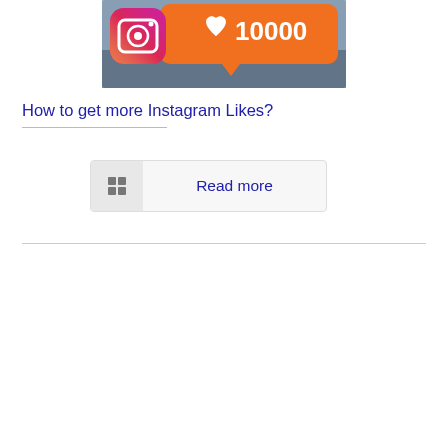[Figure (illustration): Instagram notification graphic showing heart icon with '10000' likes count on an orange rounded rectangle badge with Instagram camera logo on left, set against a blurred blue/grey background.]
How to get more Instagram Likes?
Read more